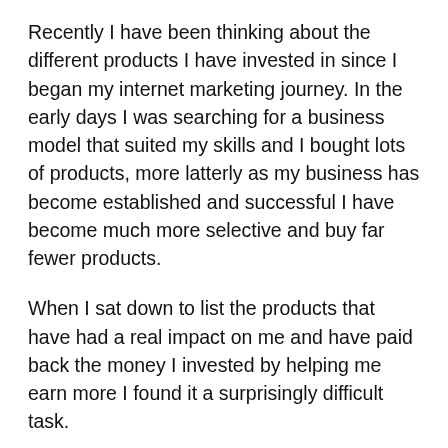Recently I have been thinking about the different products I have invested in since I began my internet marketing journey. In the early days I was searching for a business model that suited my skills and I bought lots of products, more latterly as my business has become established and successful I have become much more selective and buy far fewer products.
When I sat down to list the products that have had a real impact on me and have paid back the money I invested by helping me earn more I found it a surprisingly difficult task.
My list can be split into two different categories;